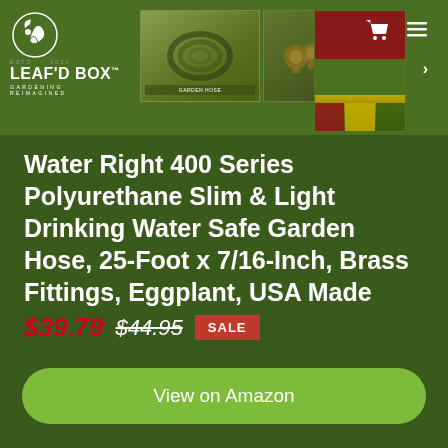[Figure (screenshot): Leaf'd Box gardening website header with logo, product image thumbnails, cart icon, and hamburger menu]
Water Right 400 Series Polyurethane Slim & Light Drinking Water Safe Garden Hose, 25-Foot x 7/16-Inch, Brass Fittings, Eggplant, USA Made
$39.79  $44.95  SALE
View on Amazon